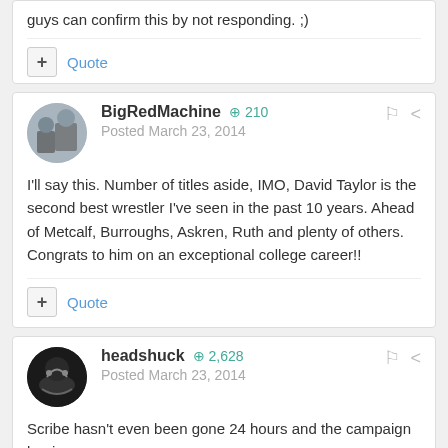guys can confirm this by not responding. ;)
Quote
BigRedMachine  +210
Posted March 23, 2014
I'll say this. Number of titles aside, IMO, David Taylor is the second best wrestler I've seen in the past 10 years. Ahead of Metcalf, Burroughs, Askren, Ruth and plenty of others. Congrats to him on an exceptional college career!!
Quote
headshuck  +2,628
Posted March 23, 2014
Scribe hasn't even been gone 24 hours and the campaign begins.
Quote